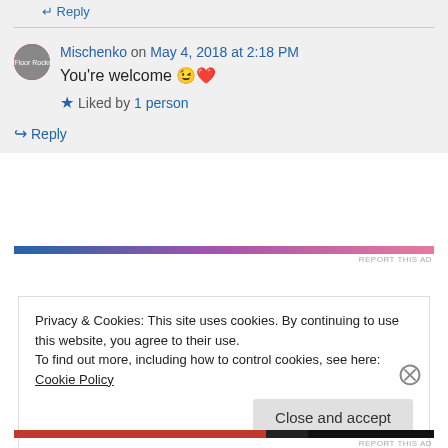↵ Reply
Mischenko on May 4, 2018 at 2:18 PM
You're welcome 😉❤
★ Liked by 1 person
↵ Reply
Privacy & Cookies: This site uses cookies. By continuing to use this website, you agree to their use. To find out more, including how to control cookies, see here: Cookie Policy
Close and accept